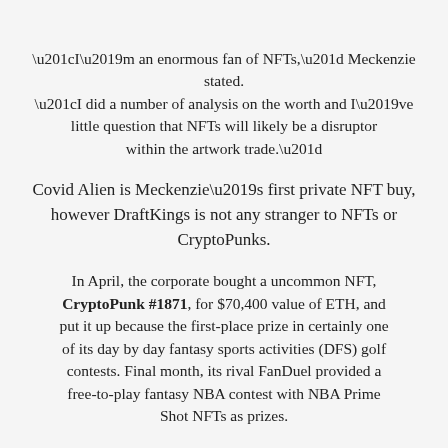“I’m an enormous fan of NFTs,” Meckenzie stated. “I did a number of analysis on the worth and I’ve little question that NFTs will likely be a disruptor within the artwork trade.”
Covid Alien is Meckenzie’s first private NFT buy, however DraftKings is not any stranger to NFTs or CryptoPunks.
In April, the corporate bought a uncommon NFT, CryptoPunk #1871, for $70,400 value of ETH, and put it up because the first-place prize in certainly one of its day by day fantasy sports activities (DFS) golf contests. Final month, its rival FanDuel provided a free-to-play fantasy NBA contest with NBA Prime Shot NFTs as prizes.